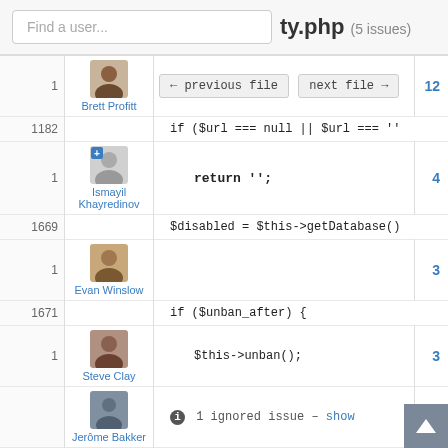Find a user...
ty.php (5 issues)
| line | user | code | nav |
| --- | --- | --- | --- |
| 1 | Brett Profitt | ← previous file  next file → | 12 |
| 1182 |  | if ($url === null || $url === '' |  |
| 1 | Ismayil Khayredinov | return ''; | 4 |
| 1669 |  | $disabled = $this->getDatabase() |  |
| 1 | Evan Winslow |  | 3 |
| 1671 |  | if ($unban_after) { |  |
| 1 | Steve Clay | $this->unban(); | 3 |
|  |  | 1 ignored issue – show | 2 |
|  | Jerôme Bakker |  |  |
| 1673 |  | } |  |
| 1674 |  | 2 More User(s) ... |  |
| 1675 | + | if ($disabled) { |  |
| 2101 |  |  |  |